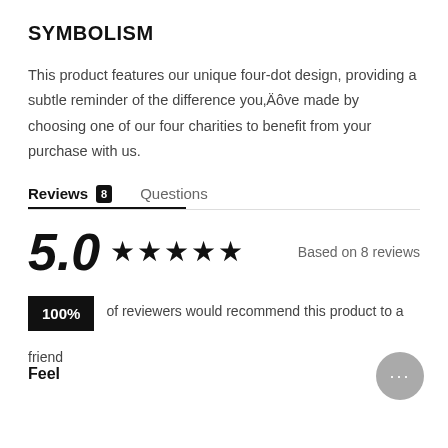SYMBOLISM
This product features our unique four-dot design, providing a subtle reminder of the difference you’ve made by choosing one of our four charities to benefit from your purchase with us.
Reviews 8   Questions
5.0 ★★★★★   Based on 8 reviews
100% of reviewers would recommend this product to a friend
Feel